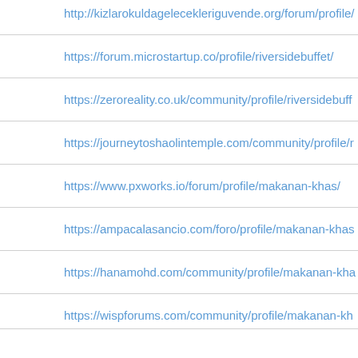http://kizlarokuldagelecekleriguvende.org/forum/profile/
https://forum.microstartup.co/profile/riversidebuffet/
https://zeroreality.co.uk/community/profile/riversidebuff
https://journeytoshaolintemple.com/community/profile/r
https://www.pxworks.io/forum/profile/makanan-khas/
https://ampacalasancio.com/foro/profile/makanan-khas
https://hanamohd.com/community/profile/makanan-kha
https://wispforums.com/community/profile/makanan-kh